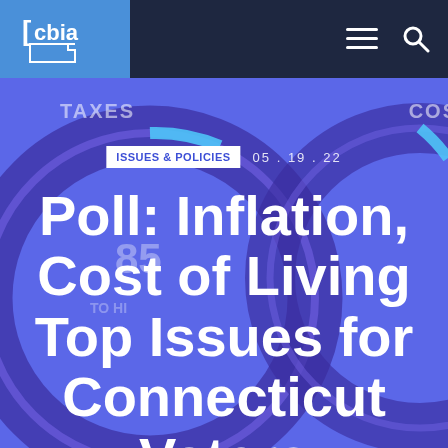cbia
TAXES
COS
ISSUES & POLICIES  05.19.22
Poll: Inflation, Cost of Living Top Issues for Connecticut Voters